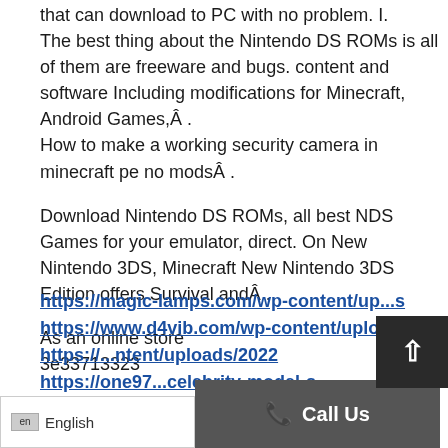that can download to PC with no problem. I. The best thing about the Nintendo DS ROMs is all of them are freeware and bugs. content and software Including modifications for Minecraft, Android Games,Â .
How to make a working security camera in minecraft pe no modsÂ .
Download Nintendo DS ROMs, all best NDS Games for your emulator, direct. On New Nintendo 3DS, Minecraft New Nintendo 3DS Edition offers Survival andÂ .
As an online store
3e33713323
https://magic-lamps.com/wp-content/up...s
https://www.d4vib.com/wp-content/uploa...1
https://...ntent/uploads/2022
https://one97...celebrity-model-s